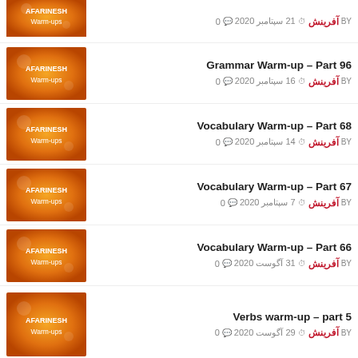آفرینش BY | 21 سپتامبر 2020 | 0 comments
Grammar Warm-up – Part 96 | آفرینش BY | 16 سپتامبر 2020 | 0 comments
Vocabulary Warm-up – Part 68 | آفرینش BY | 14 سپتامبر 2020 | 0 comments
Vocabulary Warm-up – Part 67 | آفرینش BY | 7 سپتامبر 2020 | 0 comments
Vocabulary Warm-up – Part 66 | آفرینش BY | 31 آگوست 2020 | 0 comments
Verbs warm-up – part 5 | آفرینش BY | 29 آگوست 2020 | 0 comments